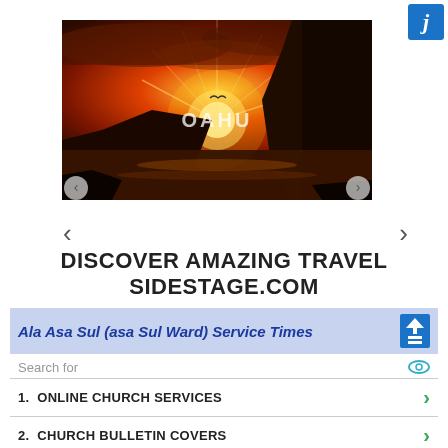[Figure (photo): Scenic sunset photo of Oahu coastline with rocky cliffs, ocean waves, and dramatic orange sky. The word OAHU appears in white text overlay in the center of the image.]
DISCOVER AMAZING TRAVEL SIDESTAGE.COM
Ala Asa Sul (asa Sul Ward) Service Times
Search for
1.  ONLINE CHURCH SERVICES
2.  CHURCH BULLETIN COVERS